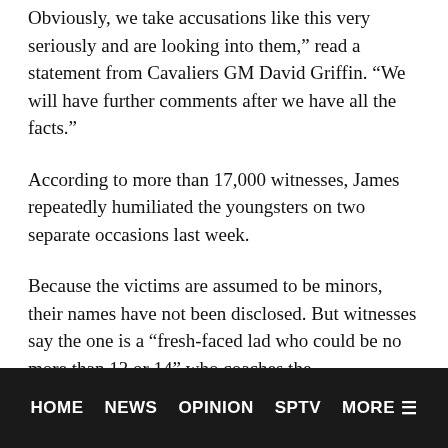Obviously, we take accusations like this very seriously and are looking into them," read a statement from Cavaliers GM David Griffin. "We will have further comments after we have all the facts."
According to more than 17,000 witnesses, James repeatedly humiliated the youngsters on two separate occasions last week.
Because the victims are assumed to be minors, their names have not been disclosed. But witnesses say the one is a “fresh-faced lad who could be no more than 13 or 14” who coaches the
HOME   NEWS   OPINION   SPTV   MORE